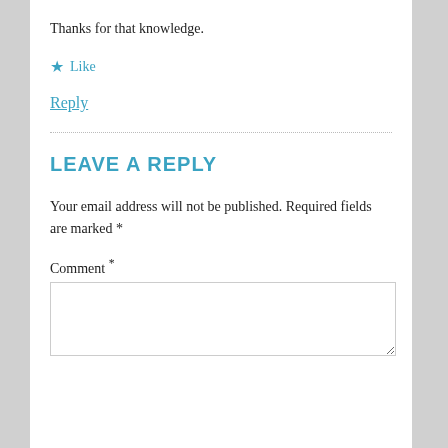Thanks for that knowledge.
★ Like
Reply
LEAVE A REPLY
Your email address will not be published. Required fields are marked *
Comment *